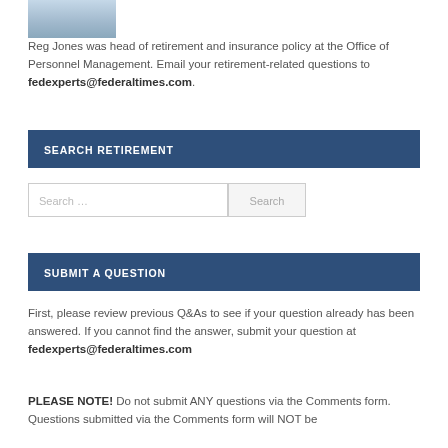[Figure (photo): Partial photo of Reg Jones, cropped headshot showing shoulders and lower face area]
Reg Jones was head of retirement and insurance policy at the Office of Personnel Management. Email your retirement-related questions to fedexperts@federaltimes.com.
SEARCH RETIREMENT
Search …
SUBMIT A QUESTION
First, please review previous Q&As to see if your question already has been answered. If you cannot find the answer, submit your question at fedexperts@federaltimes.com
PLEASE NOTE! Do not submit ANY questions via the Comments form. Questions submitted via the Comments form will NOT be